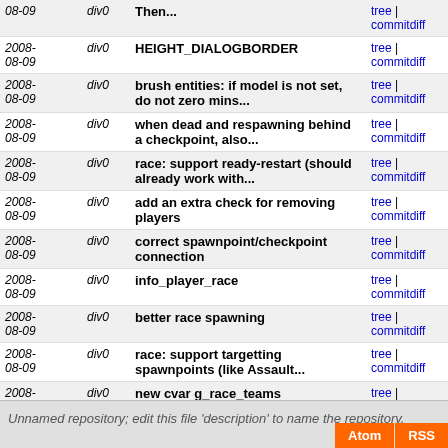| Date | Branch | Message | Links |
| --- | --- | --- | --- |
| 2008-08-09 | div0 | Then... | tree | commitdiff |
| 2008-08-09 | div0 | HEIGHT_DIALOGBORDER | tree | commitdiff |
| 2008-08-09 | div0 | brush entities: if model is not set, do not zero mins... | tree | commitdiff |
| 2008-08-09 | div0 | when dead and respawning behind a checkpoint, also... | tree | commitdiff |
| 2008-08-09 | div0 | race: support ready-restart (should already work with... | tree | commitdiff |
| 2008-08-09 | div0 | add an extra check for removing players | tree | commitdiff |
| 2008-08-09 | div0 | correct spawnpoint/checkpoint connection | tree | commitdiff |
| 2008-08-09 | div0 | info_player_race | tree | commitdiff |
| 2008-08-09 | div0 | better race spawning | tree | commitdiff |
| 2008-08-09 | div0 | race: support targetting spawnpoints (like Assault... | tree | commitdiff |
| 2008-08-09 | div0 | new cvar g_race_teams | tree | commitdiff |
| 2008-08-09 | div0 | do not erase scores in race too | tree | commitdiff |
next
Unnamed repository; edit this file 'description' to name the repository.